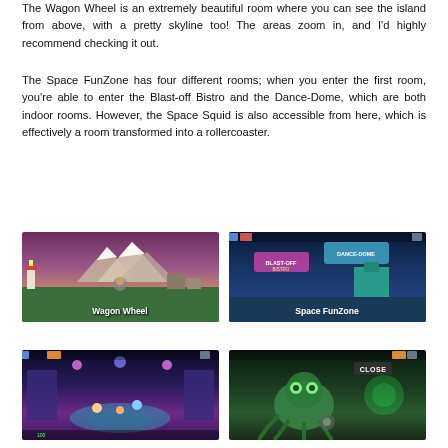The Wagon Wheel is an extremely beautiful room where you can see the island from above, with a pretty skyline too! The areas zoom in, and I'd highly recommend checking it out.
The Space FunZone has four different rooms; when you enter the first room, you're able to enter the Blast-off Bistro and the Dance-Dome, which are both indoor rooms. However, the Space Squid is also accessible from here, which is effectively a room transformed into a rollercoaster.
[Figure (screenshot): Screenshot of the Wagon Wheel room — a snowy mountain scene viewed from above with a lighthouse and buildings, labeled 'Wagon Wheel']
[Figure (screenshot): Screenshot of the Space FunZone room — a colorful space-themed area with neon signs for Blast-off Bistro and Dance-Dome, labeled 'Space FunZone']
[Figure (screenshot): Screenshot of the Dance-Dome interior — a purple/teal interior room with characters and a dance floor]
[Figure (screenshot): Screenshot of the Space Squid room — a dark green alien-themed room with a large squid creature and a CLOSE button visible]